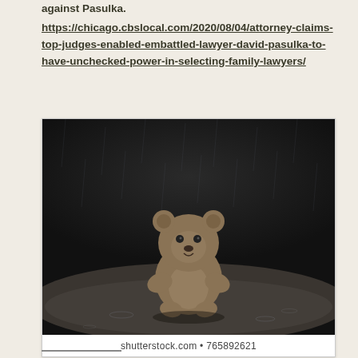against Pasulka.
https://chicago.cbslocal.com/2020/08/04/attorney-claims-top-judges-enabled-embattled-lawyer-david-pasulka-to-have-unchecked-power-in-selecting-family-lawyers/
[Figure (photo): A worn teddy bear sitting alone in a puddle of water on a wet, dark ground surface. The background is dark and blurry suggesting rain or a gloomy environment. Shutterstock watermark at bottom.]
shutterstock.com • 765892621